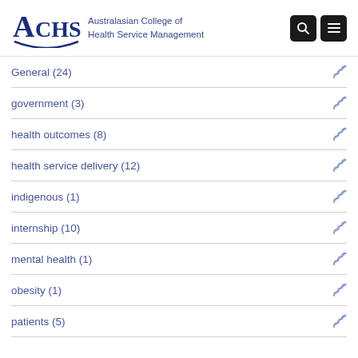ACHSM — Australasian College of Health Service Management
General (24)
government (3)
health outcomes (8)
health service delivery (12)
indigenous (1)
internship (10)
mental health (1)
obesity (1)
patients (5)